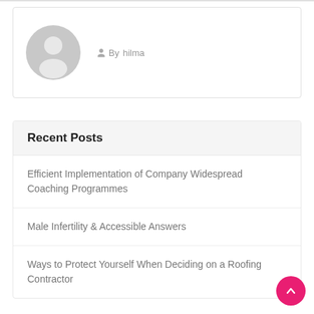[Figure (illustration): Author card with gray avatar silhouette icon and 'By hilma' text]
By hilma
Recent Posts
Efficient Implementation of Company Widespread Coaching Programmes
Male Infertility & Accessible Answers
Ways to Protect Yourself When Deciding on a Roofing Contractor